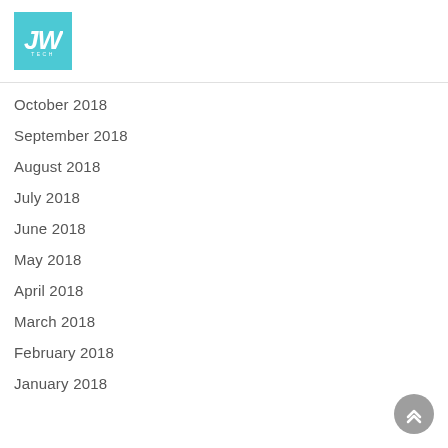[Figure (logo): JW Tech logo — teal/cyan square background with white italic JW letters and TECH text below]
October 2018
September 2018
August 2018
July 2018
June 2018
May 2018
April 2018
March 2018
February 2018
January 2018